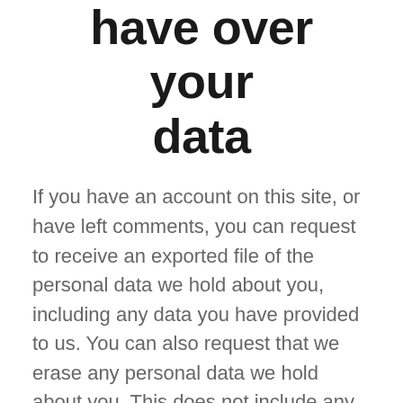have over your data
If you have an account on this site, or have left comments, you can request to receive an exported file of the personal data we hold about you, including any data you have provided to us. You can also request that we erase any personal data we hold about you. This does not include any data we are obliged to keep for administrative, legal, or security purposes.
Where we send